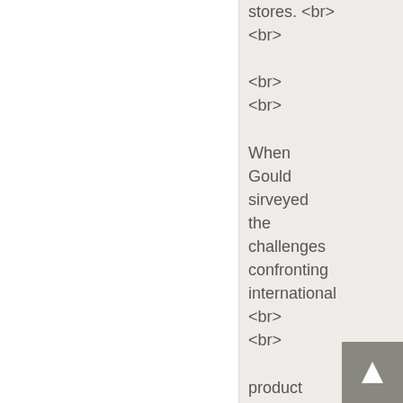stores. <br> <br> <br> <br> When Gould sirveyed the challenges confronting international <br> <br> product